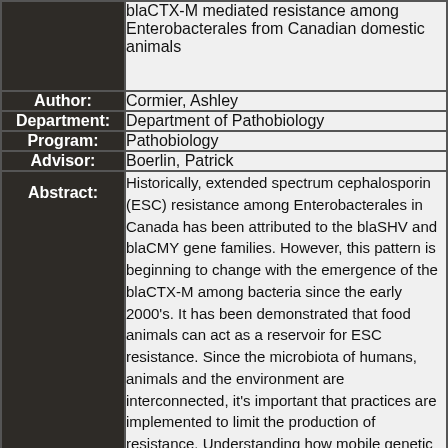| Field | Value |
| --- | --- |
| (Title) | blaCTX-M mediated resistance among Enterobacterales from Canadian domestic animals |
| Author: | Cormier, Ashley |
| Department: | Department of Pathobiology |
| Program: | Pathobiology |
| Advisor: | Boerlin, Patrick |
| Abstract: | Historically, extended spectrum cephalosporin (ESC) resistance among Enterobacterales in Canada has been attributed to the blaSHV and blaCMY gene families. However, this pattern is beginning to change with the emergence of the blaCTX-M among bacteria since the early 2000's. It has been demonstrated that food animals can act as a reservoir for ESC resistance. Since the microbiota of humans, animals and the environment are interconnected, it's important that practices are implemented to limit the production of resistance. Understanding how mobile genetic elements carrying these resistance determinants influence bacterial persistence could be an important factor in |